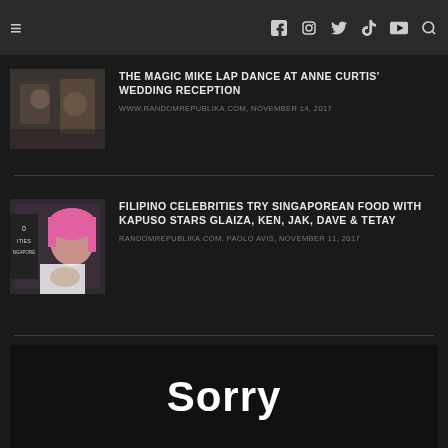≡  f  ○  🐦  V  YouTube  🔍
[Figure (photo): Thumbnail image for Magic Mike lap dance article]
THE MAGIC MIKE LAP DANCE AT ANNE CURTIS' WEDDING RECEPTION
WWW.RANDOMREPUBLIKA.COM, NOVEMBER 14, 2017
[Figure (photo): Thumbnail image for Filipino Celebrities try Singaporean Food article showing woman with pink hair]
FILIPINO CELEBRITIES TRY SINGAPOREAN FOOD WITH KAPUSO STARS GLAIZA, KEN, JAK, DAVE & TETAY
RANDOMREPUBLIKA.COM, PAOLO AVIS, NOVEMBER 11, 2017
[Figure (other): Dark box with large white 'Sorry' text partially visible]